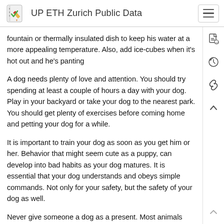UP ETH Zurich Public Data
fountain or thermally insulated dish to keep his water at a more appealing temperature. Also, add ice-cubes when it's hot out and he's panting
A dog needs plenty of love and attention. You should try spending at least a couple of hours a day with your dog. Play in your backyard or take your dog to the nearest park. You should get plenty of exercises before coming home and petting your dog for a while.
It is important to train your dog as soon as you get him or her. Behavior that might seem cute as a puppy, can develop into bad habits as your dog matures. It is essential that your dog understands and obeys simple commands. Not only for your safety, but the safety of your dog as well.
Never give someone a dog as a present. Most animals that are given as gifts eventually wind up in a shelter. This is due to the fact that many people can not handle the responsibilities that come with having a pet. If someone wants a dog bad enough they should be the one to make that purchase.